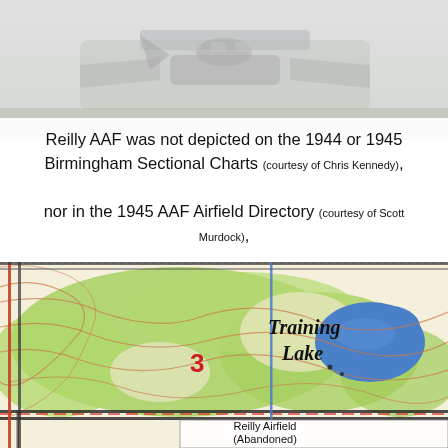[Figure (photo): Background photo showing military aircraft, partially visible at top of page, with a grayish overlay.]
Reilly AAF was not depicted on the 1944 or 1945 Birmingham Sectional Charts (courtesy of Chris Kennedy), nor in the 1945 AAF Airfield Directory (courtesy of Scott Murdock), or on the April 1946 Birmingham Sectional Chart.
[Figure (map): Topographic/sectional map excerpt showing Training Lake area and 'Reilly Airfield (Abandoned)' label with the number 3 marked in red, green terrain shading, blue lake, and road/boundary lines.]